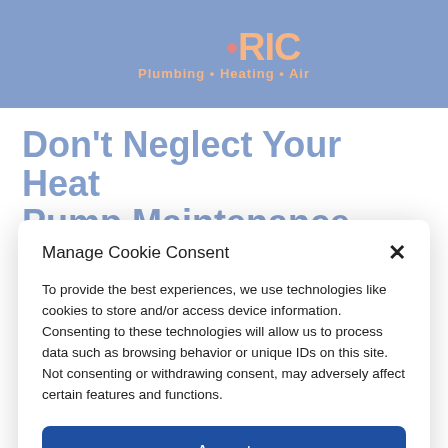[Figure (logo): LIMRIC Plumbing Heating Air logo on blue background header]
Don't Neglect Your Heat Pump Maintenance
Manage Cookie Consent
To provide the best experiences, we use technologies like cookies to store and/or access device information. Consenting to these technologies will allow us to process data such as browsing behavior or unique IDs on this site. Not consenting or withdrawing consent, may adversely affect certain features and functions.
Accept
Opt-out preferences  Privacy Policy